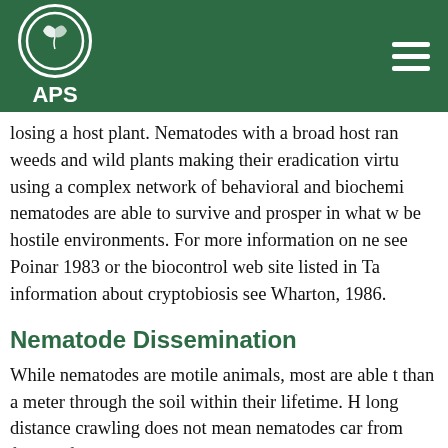APS
losing a host plant. Nematodes with a broad host range can survive on weeds and wild plants making their eradication virtually impossible. By using a complex network of behavioral and biochemical adaptations, nematodes are able to survive and prosper in what would otherwise be hostile environments. For more information on nematode biology, see Poinar 1983 or the biocontrol web site listed in Table 3. For information about cryptobiosis see Wharton, 1986.
Nematode Dissemination
While nematodes are motile animals, most are able to move no more than a meter through the soil within their lifetime. However, lack of long distance crawling does not mean nematodes cannot be dispersed from field to field. Farm equipment and even muddy boots contaminated with nematode-infested soil can rapidly spread nematodes. The movement of water during floods and irrigation can disperse nematodes over long distances. Likewise the